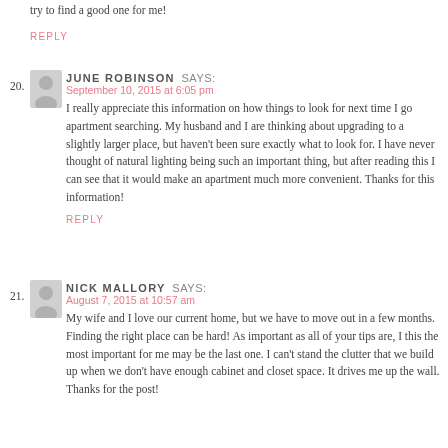try to find a good one for me!
REPLY
20. JUNE ROBINSON SAYS:
September 10, 2015 at 6:05 pm
I really appreciate this information on how things to look for next time I go apartment searching. My husband and I are thinking about upgrading to a slightly larger place, but haven't been sure exactly what to look for. I have never thought of natural lighting being such an important thing, but after reading this I can see that it would make an apartment much more convenient. Thanks for this information!
REPLY
21. NICK MALLORY SAYS:
August 7, 2015 at 10:57 am
My wife and I love our current home, but we have to move out in a few months. Finding the right place can be hard! As important as all of your tips are, I this the most important for me may be the last one. I can't stand the clutter that we build up when we don't have enough cabinet and closet space. It drives me up the wall. Thanks for the post!